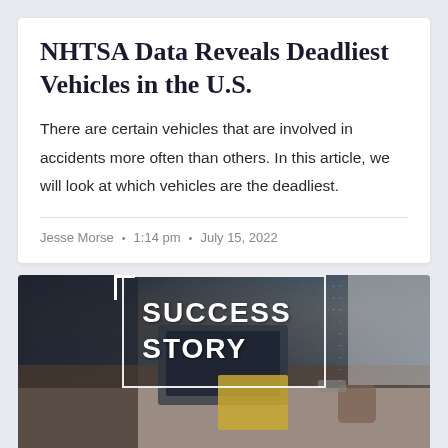NHTSA Data Reveals Deadliest Vehicles in the U.S.
There are certain vehicles that are involved in accidents more often than others. In this article, we will look at which vehicles are the deadliest.
Jesse Morse  •  1:14 pm  •  July 15, 2022
[Figure (photo): Overhead photo of people working around a table with laptops, notebooks, and a coffee cup. A graphic overlay shows 'SUCCESS STORY' in white bold text inside a white bordered frame with dotted border elements.]